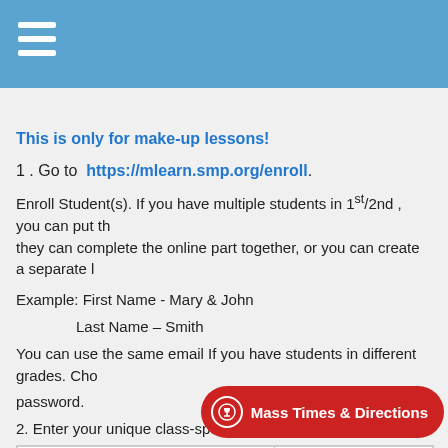This is only for make-up lessons!
1 . Go to https://mlearn.smp.org/enroll.
Enroll Student(s). If you have multiple students in 1st/2nd, you can put them together so they can complete the online part together, or you can create a separate login.
Example: First Name - Mary & John
                    Last Name – Smith
You can use the same email If you have students in different grades. Choose a password.
2. Enter your unique class-specific code.
| Section Name | Section Code |
| --- | --- |
| 3rd/4th Gr. Sunday 1:30... |  |
Mass Times & Directions